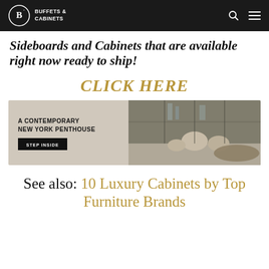BUFFETS & CABINETS
Sideboards and Cabinets that are available right now ready to ship!
CLICK HERE
[Figure (photo): A Contemporary New York Penthouse banner with 'Step Inside' button and interior photo of a penthouse dining/living area]
See also: 10 Luxury Cabinets by Top Furniture Brands